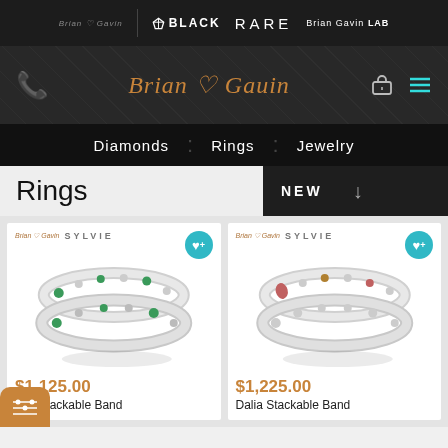Brian Gavin | BLACK | RARE | Brian Gavin LAB
[Figure (logo): Brian Gavin Diamonds logo with heart motif in gold script]
Diamonds
Rings
Jewelry
Rings
NEW
[Figure (photo): Two stacked white gold stackable bands with green gemstones, Sylvie collection]
$1,125.00
Lena Stackable Band
[Figure (photo): Two stacked white gold stackable bands with pink/brown gemstones, Sylvie collection]
$1,225.00
Dalia Stackable Band